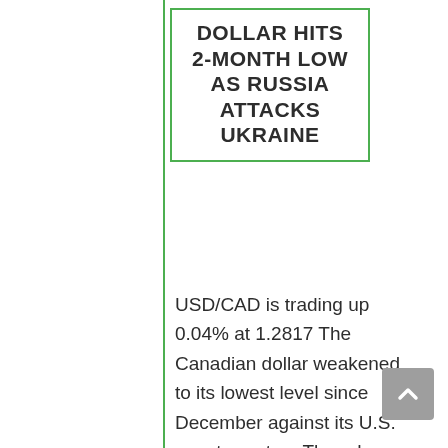DOLLAR HITS 2-MONTH LOW AS RUSSIA ATTACKS UKRAINE
USD/CAD is trading up 0.04% at 1.2817 The Canadian dollar weakened to its lowest level since December against its U.S. counterpart on Thursday as Russia's invasion of Ukraine triggered a flight to safety in global financial markets. Stock markets globally slumped and the safe-haven U.S. dollar rallied